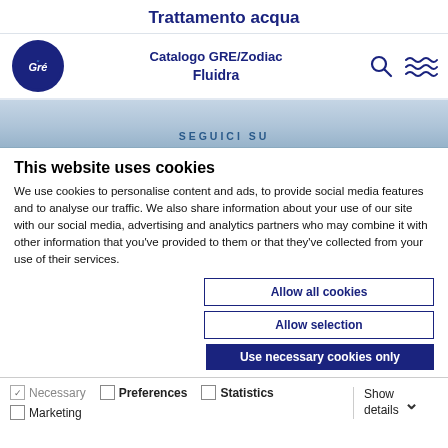Trattamento acqua
[Figure (logo): GRE circular logo with white text on dark blue background]
Catalogo GRE/Zodiac
Fluidra
SEGUICI SU
This website uses cookies
We use cookies to personalise content and ads, to provide social media features and to analyse our traffic. We also share information about your use of our site with our social media, advertising and analytics partners who may combine it with other information that you've provided to them or that they've collected from your use of their services.
Allow all cookies
Allow selection
Use necessary cookies only
✓ Necessary   □ Preferences   □ Statistics   □ Marketing   Show details ▾